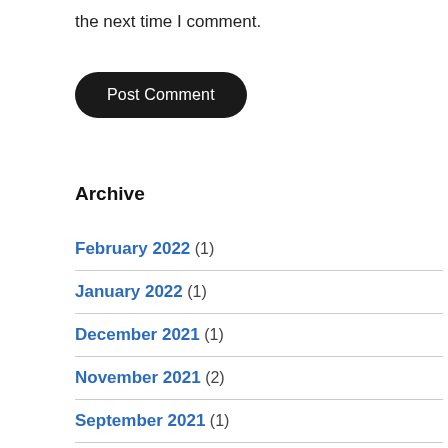the next time I comment.
Post Comment
Archive
February 2022 (1)
January 2022 (1)
December 2021 (1)
November 2021 (2)
September 2021 (1)
April 2021 (1)
March 2021 (1)